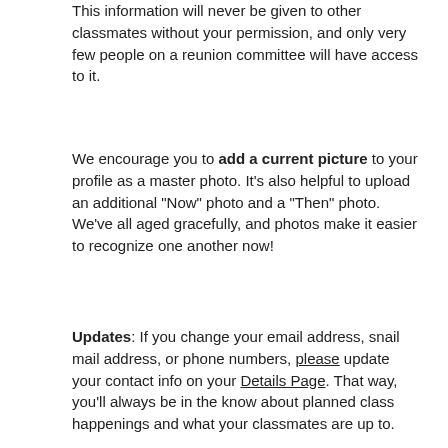This information will never be given to other classmates without your permission, and only very few people on a reunion committee will have access to it.
We encourage you to add a current picture to your profile as a master photo.  It's also helpful to upload an additional "Now" photo and a "Then" photo.  We've all aged gracefully, and photos make it easier to recognize one another now!
Updates:  If you change your email address, snail mail address, or phone numbers, please update your contact info on your Details Page.  That way, you'll always be in the know about planned class happenings and what your classmates are up to.
Choosing a password:  Passwords do not need to be the high security style recommended for some sites.  Choose something simple that you are certain you will remember.  Clicking the "Remember Me" will allow you to bypass entering the password each time you visit, but eventually the "remember me" will fail